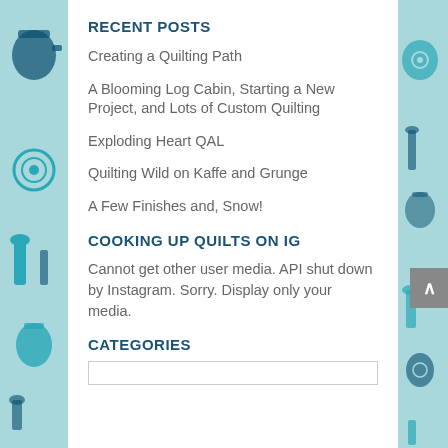RECENT POSTS
Creating a Quilting Path
A Blooming Log Cabin, Starting a New Project, and Lots of Custom Quilting
Exploding Heart QAL
Quilting Wild on Kaffe and Grunge
A Few Finishes and, Snow!
COOKING UP QUILTS ON IG
Cannot get other user media. API shut down by Instagram. Sorry. Display only your media.
CATEGORIES